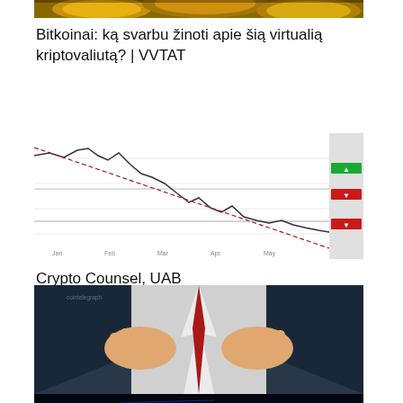[Figure (photo): Partial top image showing gold bitcoin coins, cropped at the top of the page]
Bitkoinai: ką svarbu žinoti apie šią virtualią kriptovaliutą? | VVTAT
[Figure (screenshot): Screenshot of a cryptocurrency price chart showing a downward trend with red and green indicator bars on the right side]
Crypto Counsel, UAB
[Figure (illustration): Illustration of hands tearing open a shirt, person wearing a red tie, cryptocurrency/finance theme]
Kaip laikyti kriptovaliutą. Geriausios Bitcoin ir kriptovaliutų piniginės
[Figure (photo): Partial bottom image showing a glowing blue cryptocurrency price chart going upward with a gold bitcoin coin, cropped at the bottom of the page]